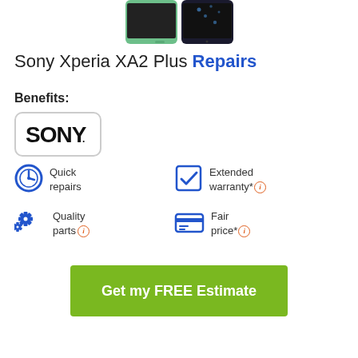[Figure (photo): Two Sony Xperia XA2 Plus smartphones side by side, one green and one black]
Sony Xperia XA2 Plus Repairs
Benefits:
[Figure (logo): SONY logo in black text with rounded rectangle border]
Quick repairs
Extended warranty*
Quality parts
Fair price*
Get my FREE Estimate